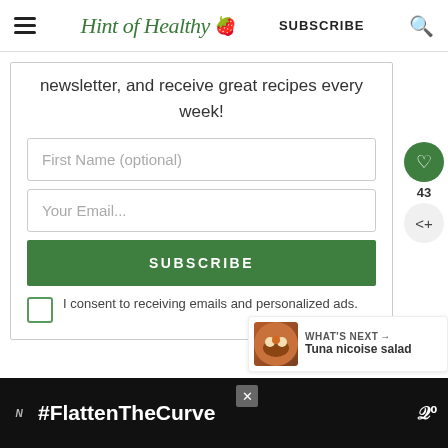Hint of Healthy | SUBSCRIBE
newsletter, and receive great recipes every week!
First Name (optional)
Your Email...
SUBSCRIBE
I consent to receiving emails and personalized ads.
43
WHAT'S NEXT → Tuna nicoise salad
#FlattenTheCurve